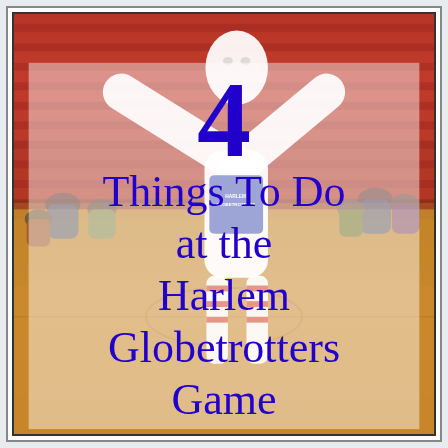[Figure (photo): Background photo of Harlem Globetrotters basketball game at an arena, showing red bleacher seats filled with spectators, a basketball court, and a large inflatable mascot character in the center wearing a Globetrotters jersey with outstretched arms.]
4 Things To Do at the Harlem Globetrotters Game